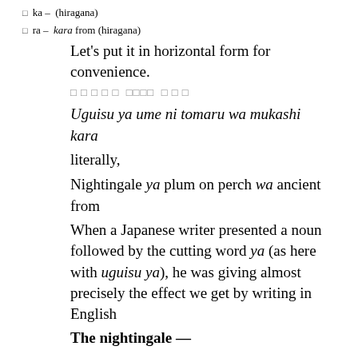□ ka – (hiragana)
□ ra – kara from (hiragana)
Let's put it in horizontal form for convenience.
□□□□□ □□□□ □□□
Uguisu ya ume ni tomaru wa mukashi kara
literally,
Nightingale ya plum on perch wa ancient from
When a Japanese writer presented a noun followed by the cutting word ya (as here with uguisu ya), he was giving almost precisely the effect we get by writing in English
The nightingale —